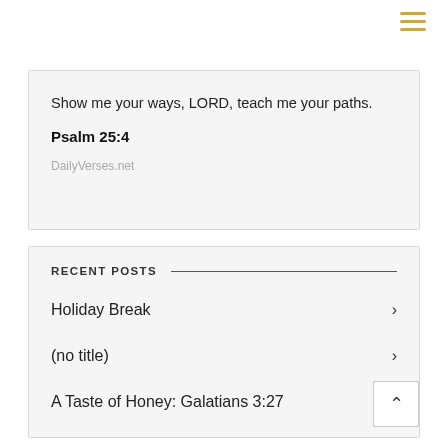[Figure (other): Hamburger menu icon with three horizontal golden/yellow lines, positioned top right]
Show me your ways, LORD, teach me your paths.
Psalm 25:4
DailyVerses.net
RECENT POSTS
Holiday Break >
(no title) >
A Taste of Honey: Galatians 3:27 >